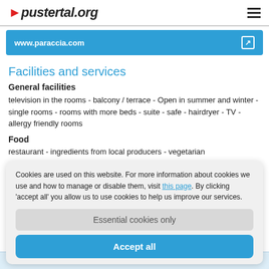pustertal.org
www.paraccia.com
Facilities and services
General facilities
television in the rooms - balcony / terrace - Open in summer and winter - single rooms - rooms with more beds - suite - safe - hairdryer - TV - allergy friendly rooms
Food
restaurant - ingredients from local producers - vegetarian
Cookies are used on this website. For more information about cookies we use and how to manage or disable them, visit this page. By clicking 'accept all' you allow us to use cookies to help us improve our services.
Essential cookies only
Accept all
from November 10, 2022 to November 24, 2022